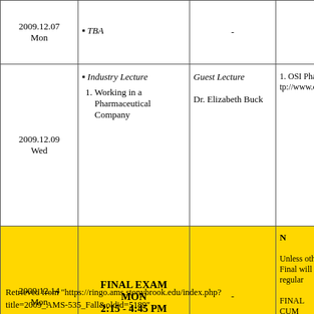| Date | Topic | Speaker | Notes |
| --- | --- | --- | --- |
| 2009.12.07 Mon | TBA | - |  |
| 2009.12.09 Wed | Industry Lecture
1. Working in a Pharmaceutical Company | Guest Lecture
Dr. Elizabeth Buck | 1. OSI Pha tp://www.o |
| 2009.12.14 Mon | FINAL EXAM MON 2:15 - 4:45 PM | - | N
Unless othe Final will regular
FINAL CUM |
Retrieved from "https://ringo.ams.stonybrook.edu/index.php?title=2009_AMS-535_Fall&oldid=5189"